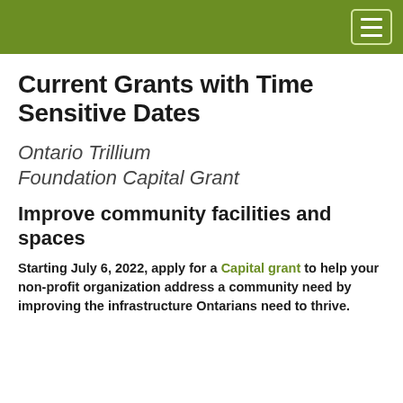Navigation bar with hamburger menu
Current Grants with Time Sensitive Dates
Ontario Trillium Foundation Capital Grant
Improve community facilities and spaces
Starting July 6, 2022, apply for a Capital grant to help your non-profit organization address a community need by improving the infrastructure Ontarians need to thrive.